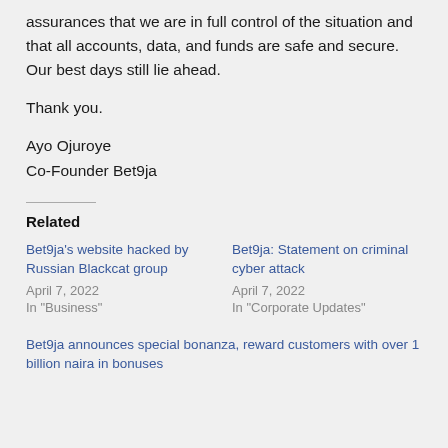assurances that we are in full control of the situation and that all accounts, data, and funds are safe and secure. Our best days still lie ahead.
Thank you.
Ayo Ojuroye
Co-Founder Bet9ja
Related
Bet9ja's website hacked by Russian Blackcat group
April 7, 2022
In "Business"
Bet9ja: Statement on criminal cyber attack
April 7, 2022
In "Corporate Updates"
Bet9ja announces special bonanza, reward customers with over 1 billion naira in bonuses